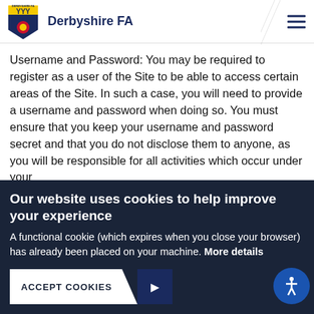Derbyshire FA
Username and Password: You may be required to register as a user of the Site to be able to access certain areas of the Site. In such a case, you will need to provide a username and password when doing so. You must ensure that you keep your username and password secret and that you do not disclose them to anyone, as you will be responsible for all activities which occur under your
Our website uses cookies to help improve your experience
A functional cookie (which expires when you close your browser) has already been placed on your machine. More details